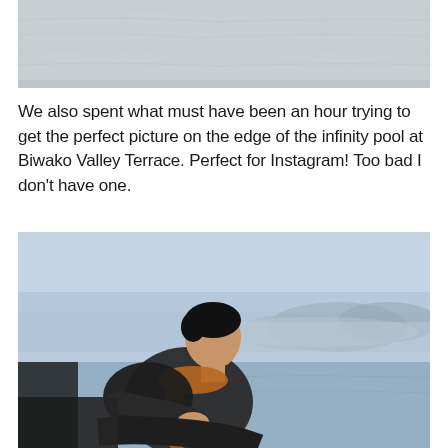[Figure (photo): Top portion of an outdoor winter/snowy scene with grey-white textured surface, cropped at top of page]
We also spent what must have been an hour trying to get the perfect picture on the edge of the infinity pool at Biwako Valley Terrace. Perfect for Instagram! Too bad I don't have one.
[Figure (photo): Young Asian man in a dark jacket and orange/brown scarf sitting at the edge of an infinity pool at Biwako Valley Terrace, looking to the side, with misty mountain and sky views in the background]